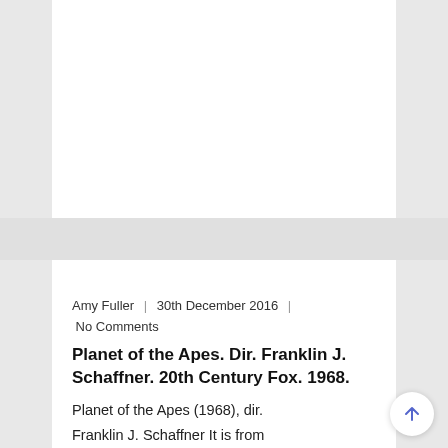Amy Fuller | 30th December 2016 | No Comments
Planet of the Apes. Dir. Franklin J. Schaffner. 20th Century Fox. 1968.
Planet of the Apes (1968), dir. Franklin J. Schaffner It is from the Planet of the Apes's first encounter with its 'more or less human' characters that we are made